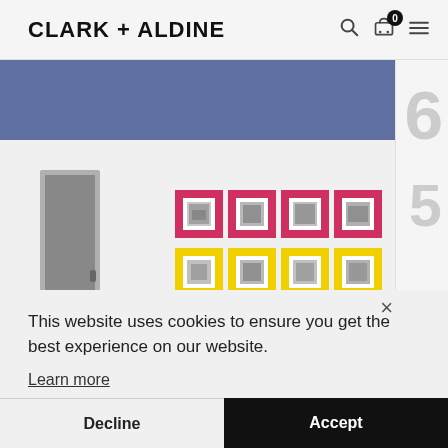CLARK + ALDINE
[Figure (photo): Gallery wall with two rows of four framed photos on pink/magenta and yellow square mats, hung on a white wall next to a gray door]
This website uses cookies to ensure you get the best experience on our website.
Learn more
Decline
Accept